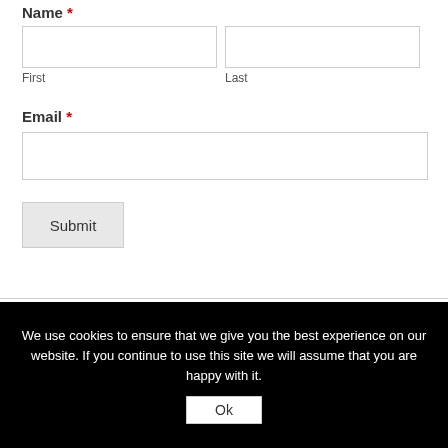Name *
First
Last
Email *
Submit
We use cookies to ensure that we give you the best experience on our website. If you continue to use this site we will assume that you are happy with it.
Ok